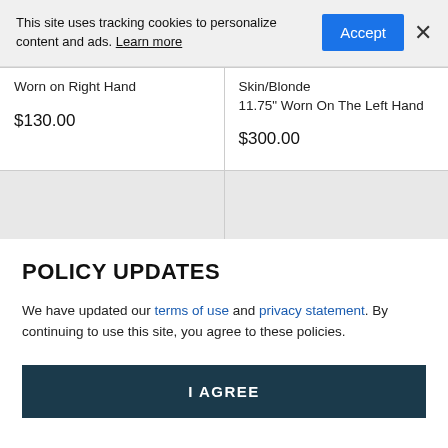This site uses tracking cookies to personalize content and ads. Learn more
Worn on Right Hand
$130.00
Skin/Blonde
11.75" Worn On The Left Hand
$300.00
POLICY UPDATES
We have updated our terms of use and privacy statement. By continuing to use this site, you agree to these policies.
I AGREE